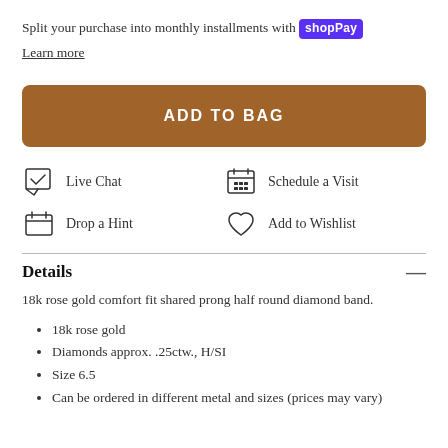Split your purchase into monthly installments with shop Pay
Learn more
ADD TO BAG
Live Chat
Schedule a Visit
Drop a Hint
Add to Wishlist
Details
18k rose gold comfort fit shared prong half round diamond band.
18k rose gold
Diamonds approx. .25ctw., H/SI
Size 6.5
Can be ordered in different metal and sizes (prices may vary)